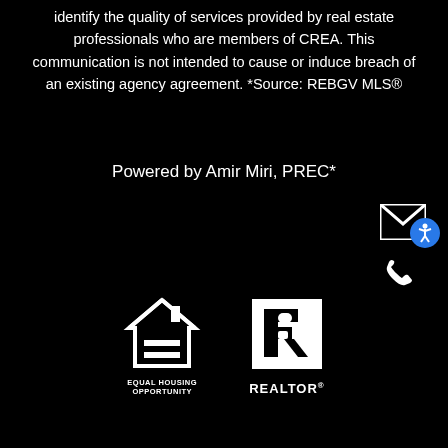identify the quality of services provided by real estate professionals who are members of CREA. This communication is not intended to cause or induce breach of an existing agency agreement. *Source: REBGV MLS®
Powered by Amir Miri, PREC*
[Figure (logo): Email envelope icon (white on black)]
[Figure (logo): Accessibility person icon in blue circle]
[Figure (logo): Phone icon (white on black)]
[Figure (logo): Equal Housing Opportunity logo with text EQUAL HOUSING OPPORTUNITY]
[Figure (logo): REALTOR logo with R in square and REALTOR text below]